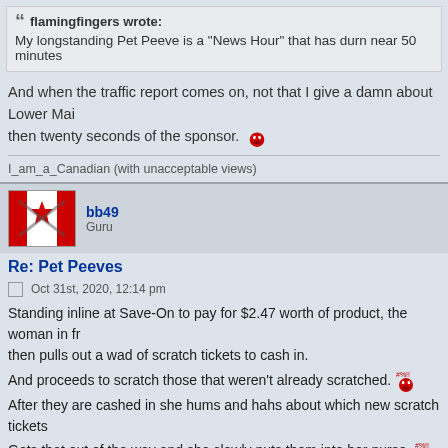flamingfingers wrote: My longstanding Pet Peeve is a "News Hour" that has durn near 50 minutes...
And when the traffic report comes on, not that I give a damn about Lower Mai... then twenty seconds of the sponsor. [angry emoji]
I_am_a_Canadian (with unacceptable views)
bb49
Guru
Re: Pet Peeves
Oct 31st, 2020, 12:14 pm
Standing inline at Save-On to pay for $2.47 worth of product, the woman in fr... then pulls out a wad of scratch tickets to cash in.

And proceeds to scratch those that weren't already scratched. [angry emoji]

After they are cashed in she hums and hahs about which new scratch tickets...

Gets that out of the way and she slowly puts them into her purse. [angry emoji]

Then she hums and hahs some more about which 649 tickets to buy. [angry emoji]

Then she starts looking in her wallet for whatever card she wants to use to...